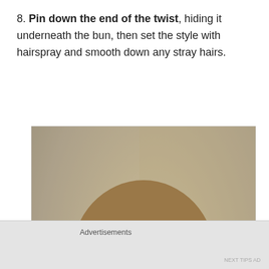8. Pin down the end of the twist, hiding it underneath the bun, then set the style with hairspray and smooth down any stray hairs.
[Figure (photo): Back view of a woman with blonde/brown hair twisted into a bun, hands with manicured nails touching the bun, wearing a yellow long-sleeve top. Photo shows the hairstyling step 8.]
Advertisements